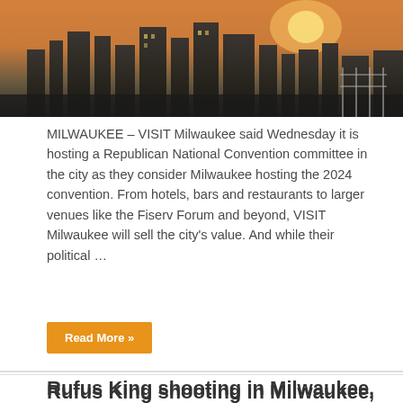[Figure (photo): Cityscape skyline photo at dusk/sunset with buildings silhouetted against an orange-pink sky, waterfront visible]
MILWAUKEE – VISIT Milwaukee said Wednesday it is hosting a Republican National Convention committee in the city as they consider Milwaukee hosting the 2024 convention. From hotels, bars and restaurants to larger venues like the Fiserv Forum and beyond, VISIT Milwaukee will sell the city's value. And while their political …
Read More »
Rufus King shooting in Milwaukee, MPS responds to parents' frustrations
February 8, 2022   Milwaukee   Comments Off
[Figure (photo): Night scene with police car lights (red and blue flashing lights) visible in darkness]